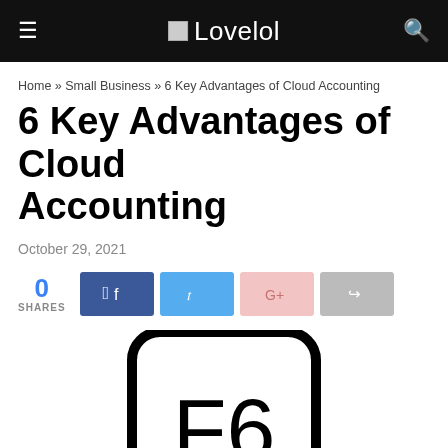Lovelol
Home » Small Business » 6 Key Advantages of Cloud Accounting
6 Key Advantages of Cloud Accounting
October 29, 2021
0 SHARES
[Figure (illustration): Keyboard key showing 'F6' inside a rounded square border, black outline on white background, partially cropped at bottom of page]